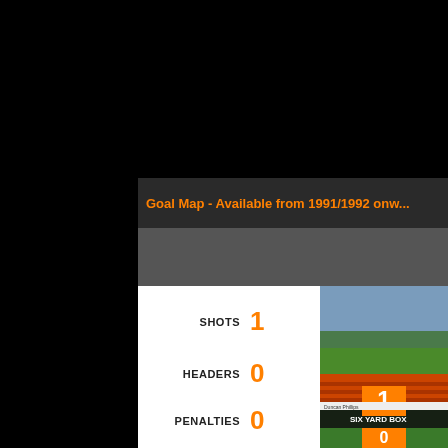Goal Map - Available from 1991/1992 onwards
[Figure (infographic): Football statistics infographic showing shots=1, headers=0, penalties=0 with an orange horizontal bar for shots, and a stadium photo with a six yard box marker showing 1 goal]
SHOTS 1
HEADERS 0
PENALTIES 0
SIX YARD BOX
1